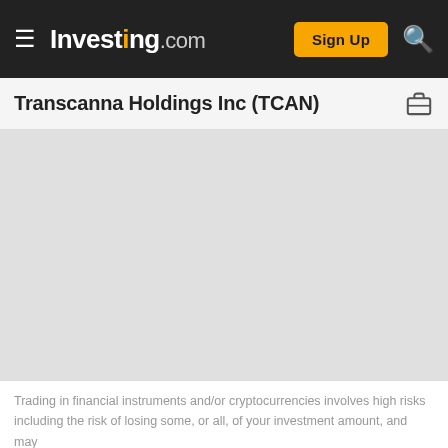Investing.com — Sign Up
Transcanna Holdings Inc (TCAN)
[Figure (other): Empty grey chart area placeholder for stock price chart of TCAN]
Trading in financial instruments and/or cryptocurrencies involves high risks including the risk of losing some, or all, of your investment amount, and may